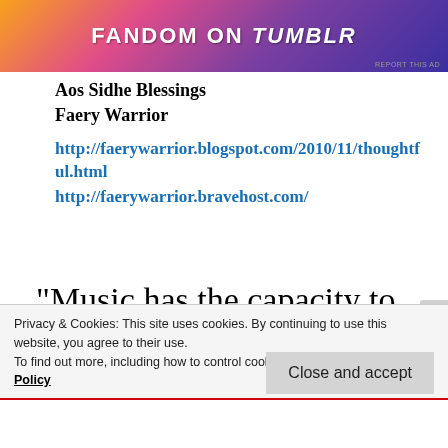[Figure (illustration): Tumblr 'Fandom on Tumblr' colorful banner advertisement with gradient purple/orange background and white text]
Aos Sidhe Blessings
Faery Warrior
http://faerywarrior.blogspot.com/2010/11/thoughtful.html
http://faerywarrior.bravehost.com/
“Music has the capacity to touch the innermost reaches of the soul
Privacy & Cookies: This site uses cookies. By continuing to use this website, you agree to their use.
To find out more, including how to control cookies, see here: Cookie Policy
Close and accept